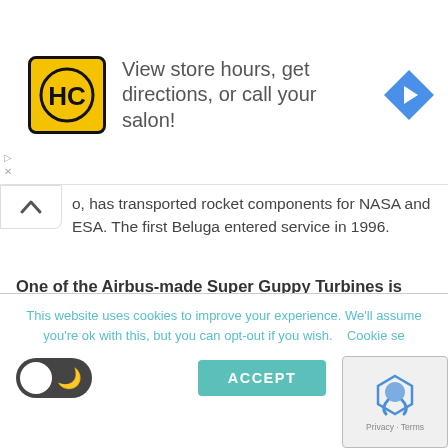[Figure (screenshot): Advertisement banner: HC (Hair Club) logo in yellow square, text 'View store hours, get directions, or call your salon!', blue diamond navigation icon on right]
o, has transported rocket components for NASA and ESA. The first Beluga entered service in 1996.
One of the Airbus-made Super Guppy Turbines is still in service today, with NASA. This is SGT No4, which originally had tail number F-GEAI. NASA bought it in 1997, giving it tail number N941NA. Isn't it ironic? An aircraft designed to carry rocket parts, but built (in this case) to carry aircraft components, still ended up carrying newer rocket parts...
This website uses cookies to improve your experience. We'll assume you're ok with this, but you can opt-out if you wish.    Cookie se
ACCEPT